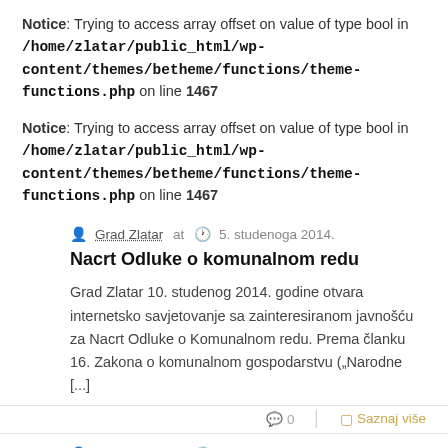Notice: Trying to access array offset on value of type bool in /home/zlatar/public_html/wp-content/themes/betheme/functions/theme-functions.php on line 1467
Notice: Trying to access array offset on value of type bool in /home/zlatar/public_html/wp-content/themes/betheme/functions/theme-functions.php on line 1467
Grad Zlatar at  5. studenoga 2014.
Nacrt Odluke o komunalnom redu
Grad Zlatar 10. studenog 2014. godine otvara internetsko savjetovanje sa zainteresiranom javnošću za Nacrt Odluke o Komunalnom redu. Prema članku 16. Zakona o komunalnom gospodarstvu („Narodne [...]
0   Saznaj više
Grad Zlatar at  5. studenoga 2014.